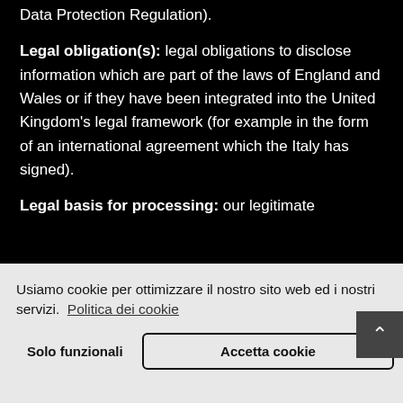Data Protection Regulation).
Legal obligation(s): legal obligations to disclose information which are part of the laws of England and Wales or if they have been integrated into the United Kingdom's legal framework (for example in the form of an international agreement which the Italy has signed).
Legal basis for processing: our legitimate
Usiamo cookie per ottimizzare il nostro sito web ed i nostri servizi.  Politica dei cookie
Solo funzionali
Accetta cookie
not been integrated into the United Kingdom's